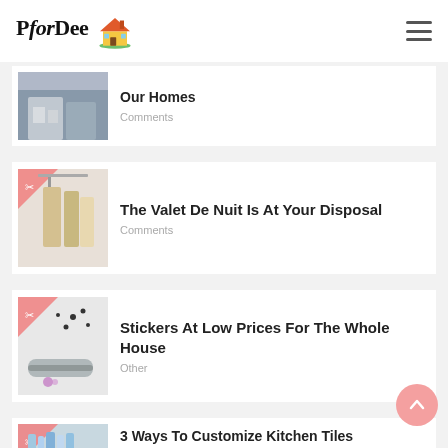PforDee [logo]
Our Homes
Comments
The Valet De Nuit Is At Your Disposal
Comments
Stickers At Low Prices For The Whole House
Other
3 Ways To Customize Kitchen Tiles